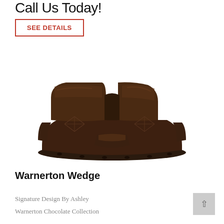Call Us Today!
SEE DETAILS
[Figure (photo): Warnerton Wedge sectional sofa piece in chocolate brown leather with diamond-stitched upholstery and a center console/armrest detail, viewed from the front-top angle.]
Warnerton Wedge
Signature Design By Ashley
Warnerton Chocolate Collection